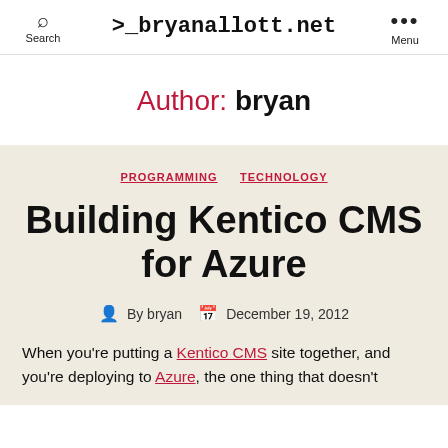Search  >_bryanallott.net  Menu
Author: bryan
PROGRAMMING  TECHNOLOGY
Building Kentico CMS for Azure
By bryan  December 19, 2012
When you're putting a Kentico CMS site together, and you're deploying to Azure, the one thing that doesn't